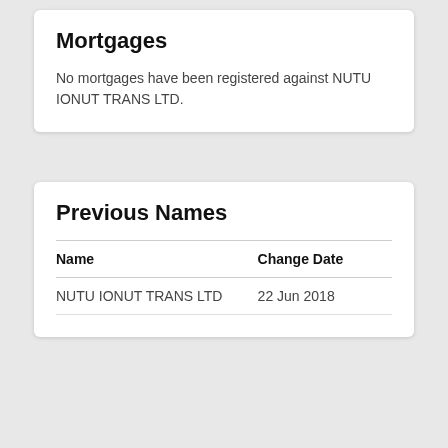Mortgages
No mortgages have been registered against NUTU IONUT TRANS LTD.
Previous Names
| Name | Change Date |
| --- | --- |
| NUTU IONUT TRANS LTD | 22 Jun 2018 |